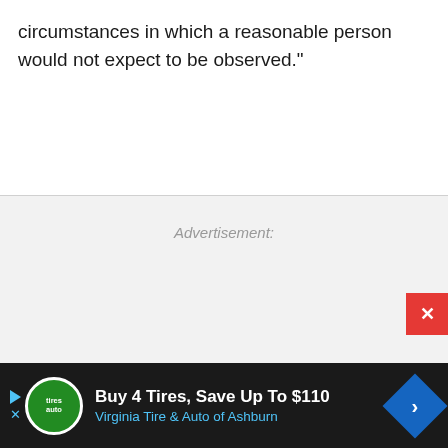circumstances in which a reasonable person would not expect to be observed."
Advertisement:
[Figure (other): Advertisement banner: Buy 4 Tires, Save Up To $110 — Virginia Tire & Auto of Ashburn]